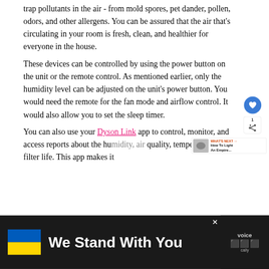trap pollutants in the air - from mold spores, pet dander, pollen, odors, and other allergens. You can be assured that the air that's circulating in your room is fresh, clean, and healthier for everyone in the house.
These devices can be controlled by using the power button on the unit or the remote control. As mentioned earlier, only the humidity level can be adjusted on the unit's power button. You would need the remote for the fan mode and airflow control. It would also allow you to set the sleep timer.
You can also use your Dyson Link app to control, monitor, and access reports about the humidity, air quality, temperature, and filter life. This app makes it
[Figure (other): Advertisement banner at bottom: dark background with Ukrainian flag colors (blue and yellow) and text 'We Stand With You'. Close button and partial logos visible on right side.]